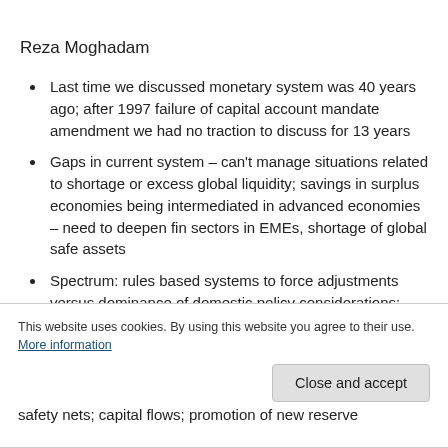Reza Moghadam
Last time we discussed monetary system was 40 years ago; after 1997 failure of capital account mandate amendment we had no traction to discuss for 13 years
Gaps in current system – can't manage situations related to shortage or excess global liquidity; savings in surplus economies being intermediated in advanced economies – need to deepen fin sectors in EMEs, shortage of global safe assets
Spectrum: rules based systems to force adjustments versus dominance of domestic policy considerations;
This website uses cookies. By using this website you agree to their use. More information
safety nets; capital flows; promotion of new reserve